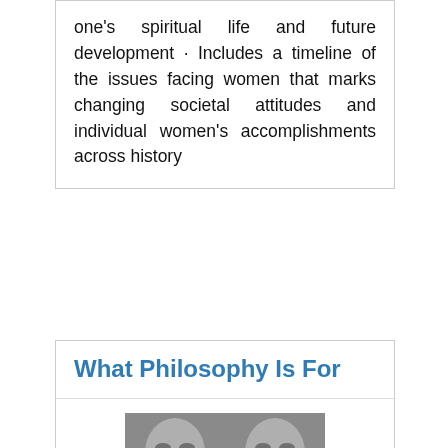one's spiritual life and future development · Includes a timeline of the issues facing women that marks changing societal attitudes and individual women's accomplishments across history
What Philosophy Is For
[Figure (illustration): Book cover of 'What Philosophy Is For' by Michael Hampe. Black and white mirrored image of faces and hands, with a red hexagonal shape in the center containing white text 'what philosophy is for' and author name.]